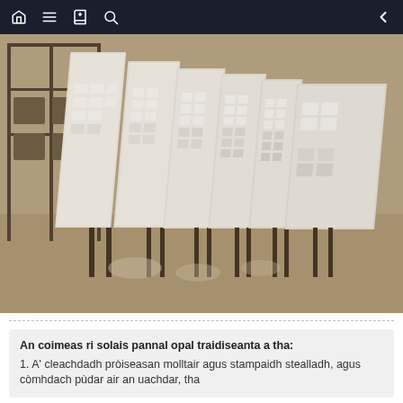Navigation bar with home, menu, book, search, and back icons
[Figure (photo): Multiple large white backlit panel displays arranged in a row on a factory/studio floor with metal stands, showing grid patterns of illuminated squares, in a sepia-toned industrial setting.]
An coimeas ri solais pannal opal traidiseanta a tha:
1. A' cleachdadh pròiseasan molltair agus stampaidh stealladh, agus còmhdach pùdar air an uachdar, tha